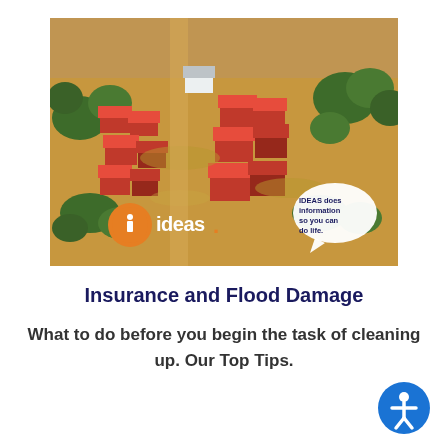[Figure (photo): Aerial view of a flooded residential neighborhood with houses submerged in brown flood water. The iDEAS logo (orange circle with white 'i' and white text 'ideas') appears in the lower-left corner of the image, and a speech bubble in the lower-right reads 'IDEAS does information so you can do life.']
Insurance and Flood Damage
What to do before you begin the task of cleaning up. Our Top Tips.